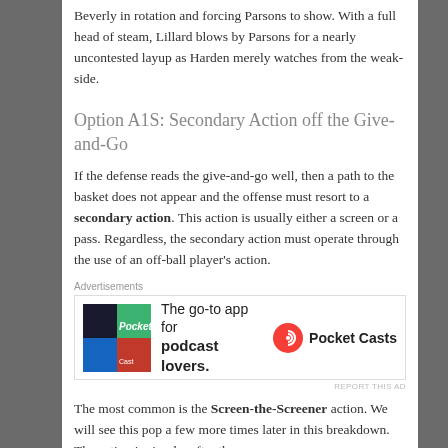Beverly in rotation and forcing Parsons to show. With a full head of steam, Lillard blows by Parsons for a nearly uncontested layup as Harden merely watches from the weak-side.
Option A1S: Secondary Action off the Give-and-Go
If the defense reads the give-and-go well, then a path to the basket does not appear and the offense must resort to a secondary action. This action is usually either a screen or a pass. Regardless, the secondary action must operate through the use of an off-ball player's action.
Advertisements
[Figure (other): Pocket Casts advertisement: The go-to app for podcast lovers.]
The most common is the Screen-the-Screener action. We will see this pop a few more times later in this breakdown. The action is simple: after the